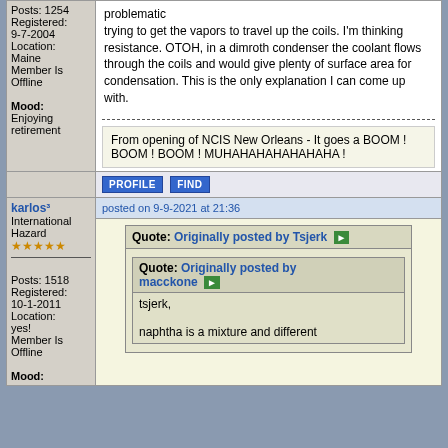Posts: 1254
Registered: 9-7-2004
Location: Maine
Member Is Offline
Mood: Enjoying retirement
trying to get the vapors to travel up the coils. I'm thinking resistance. OTOH, in a dimroth condenser the coolant flows through the coils and would give plenty of surface area for condensation. This is the only explanation I can come up with.
From opening of NCIS New Orleans - It goes a BOOM ! BOOM ! BOOM ! MUHAHAHAHAHAHAHA !
PROFILE   FIND
karlos³
International Hazard
★★★★★
Posts: 1518
Registered: 10-1-2011
Location: yes!
Member Is Offline
Mood:
posted on 9-9-2021 at 21:36
Quote: Originally posted by Tsjerk
Quote: Originally posted by macckone
tsjerk,
naphtha is a mixture and different